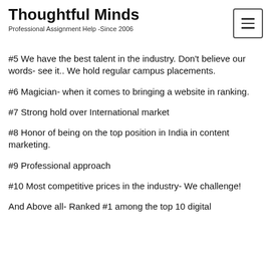Thoughtful Minds
Professional Assignment Help -Since 2006
#5 We have the best talent in the industry. Don't believe our words- see it.. We hold regular campus placements.
#6 Magician- when it comes to bringing a website in ranking.
#7 Strong hold over International market
#8 Honor of being on the top position in India in content marketing.
#9 Professional approach
#10 Most competitive prices in the industry- We challenge!
And Above all- Ranked #1 among the top 10 digital